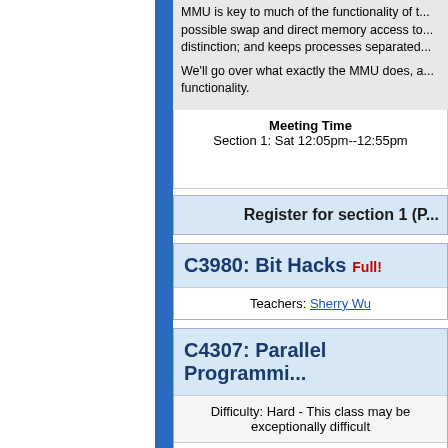MMU is key to much of the functionality of the OS, making possible swap and direct memory access to filesystems; virtual/physical distinction; and keeps processes separated from each other.
We'll go over what exactly the MMU does, and related functionality.
| Meeting Time |
| --- |
| Section 1: Sat 12:05pm--12:55pm |
Register for section 1 (P...
C3980: Bit Hacks Full!
Teachers: Sherry Wu
C4307: Parallel Programmi...
Difficulty: Hard - This class may be exceptionally difficult
We now live in a world of multithreaded pro... parallel programming. Moore's law no longe... concurrency and parallel programming will...